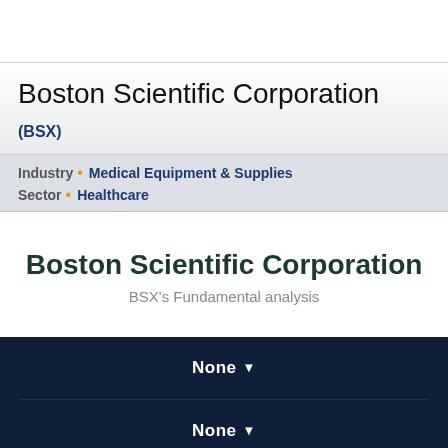Boston Scientific Corporation (BSX)
Industry • Medical Equipment & Supplies
Sector • Healthcare
Boston Scientific Corporation
BSX's Fundamental analysis
None ▼
None ▼